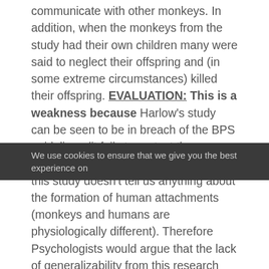communicate with other monkeys. In addition, when the monkeys from the study had their own children many were said to neglect their offspring and (in some extreme circumstances) killed their offspring. EVALUATION: This is a weakness because Harlow's study can be seen to be in breach of the BPS guidelines (it fails to protect the monkeys from harm). Furthermore, this study doesn't tell us anything about the formation of human attachments (monkeys and humans are physiologically different). Therefore Psychologists would argue that the lack of generalizability from this research makes Harlow's study even more unethical.
We use cookies to ensure that we give you the best experience on